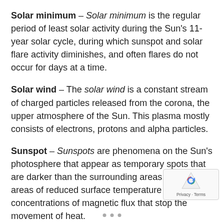Solar minimum – Solar minimum is the regular period of least solar activity during the Sun's 11-year solar cycle, during which sunspot and solar flare activity diminishes, and often flares do not occur for days at a time.
Solar wind – The solar wind is a constant stream of charged particles released from the corona, the upper atmosphere of the Sun. This plasma mostly consists of electrons, protons and alpha particles.
Sunspot – Sunspots are phenomena on the Sun's photosphere that appear as temporary spots that are darker than the surrounding areas. They are areas of reduced surface temperature caused by concentrations of magnetic flux that stop the movement of heat.